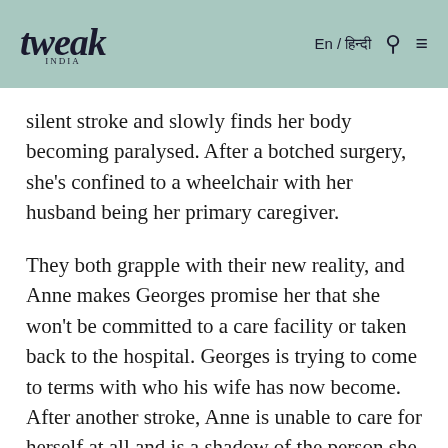tweak INDIA | En / हिन्दी
silent stroke and slowly finds her body becoming paralysed. After a botched surgery, she's confined to a wheelchair with her husband being her primary caregiver.
They both grapple with their new reality, and Anne makes Georges promise her that she won't be committed to a care facility or taken back to the hospital. Georges is trying to come to terms with who his wife has now become. After another stroke, Anne is unable to care for herself at all and is a shadow of the person she used to be. Georges faces a tough decision,